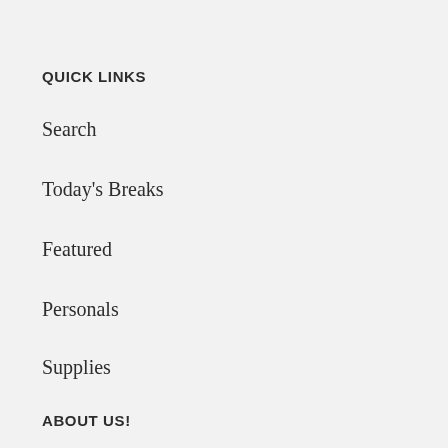Quick Links
Search
Today's Breaks
Featured
Personals
Supplies
About Us!